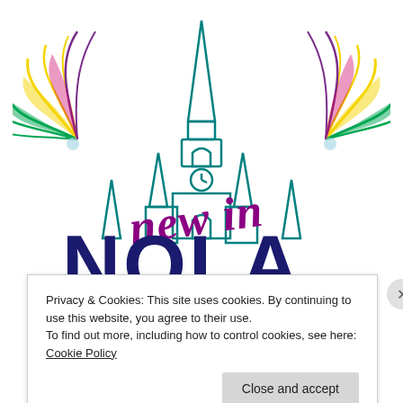[Figure (logo): New in NOLA logo featuring St. Louis Cathedral outline in teal, Mardi Gras feather decorations in purple, green, yellow colors on both sides, cursive 'new in' in purple/magenta script, and bold dark navy 'NOLA' text below]
Privacy & Cookies: This site uses cookies. By continuing to use this website, you agree to their use.
To find out more, including how to control cookies, see here: Cookie Policy
Close and accept